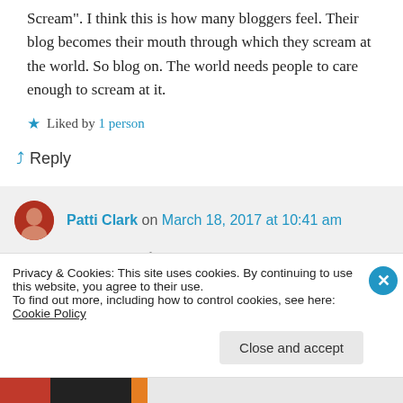Scream". I think this is how many bloggers feel. Their blog becomes their mouth through which they scream at the world. So blog on. The world needs people to care enough to scream at it.
Liked by 1 person
Reply
Patti Clark on March 18, 2017 at 10:41 am
Privacy & Cookies: This site uses cookies. By continuing to use this website, you agree to their use.
To find out more, including how to control cookies, see here: Cookie Policy
Close and accept